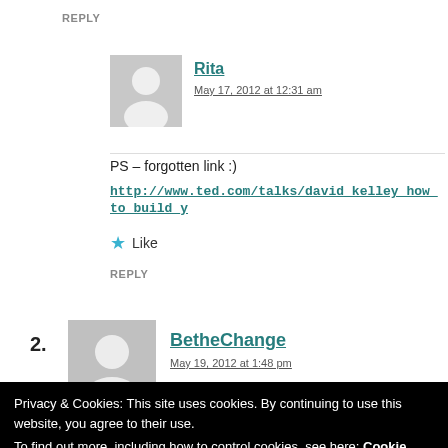REPLY
Rita
May 17, 2012 at 12:31 am
PS – forgotten link :)
http://www.ted.com/talks/david_kelley_how_to_build_yo
Like
REPLY
2.
BetheChange
May 19, 2012 at 1:48 pm
Privacy & Cookies: This site uses cookies. By continuing to use this website, you agree to their use. To find out more, including how to control cookies, see here: Cookie Policy
Close and accept